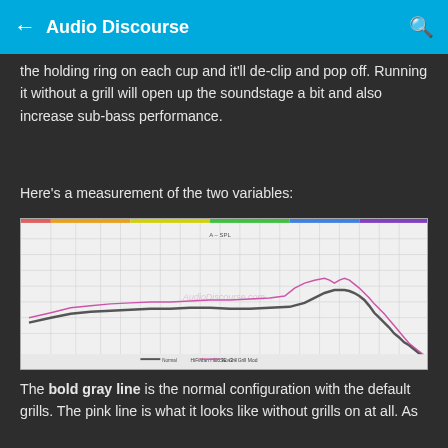Audio Discourse
the holding ring on each cup and it'll de-clip and pop off. Running it without a grill will open up the soundstage a bit and also increase sub-bass performance.
Here's a measurement of the two variables:
[Figure (continuous-plot): Frequency response chart comparing two headphone configurations: bold gray line (normal configuration with default grills) and pink line (without grills). The chart shows frequency response from low bass to high treble, with the pink line showing slightly elevated response and more variation in the upper frequencies. Watermark reads AudioDiscourse.com. Title at bottom reads HiFiMan HE6SE v2 - Grill Mod.]
The bold gray line is the normal configuration with the default grills. The pink line is what it looks like without grills on at all. As